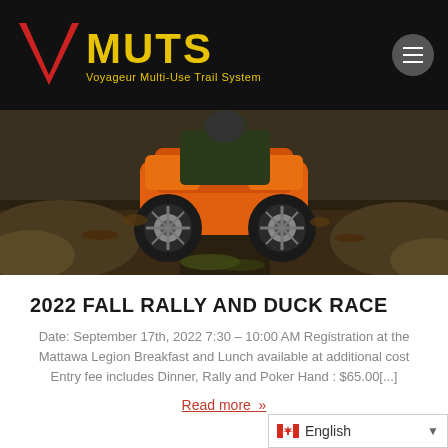[Figure (logo): VMUTS logo with red V checkmark and yellow MUTS text, Voyageur Multi-Use Trail System subtitle, on black header background]
[Figure (photo): Orange ATV/quad driving through muddy rocky terrain, off-road action photo]
2022 FALL RALLY AND DUCK RACE
Date: September 17th, 2022 7:30 – 10:00 AM Registration at the Mattawa Legion Breakfast and Lunch available at additional cost Entry fee includes Dinner, Rally and Poker Hand : $65.00[...]
Read more »
English